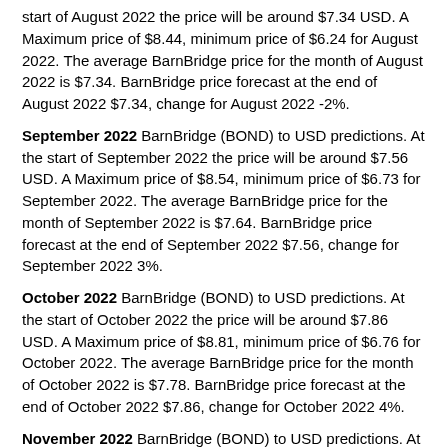start of August 2022 the price will be around $7.34 USD. A Maximum price of $8.44, minimum price of $6.24 for August 2022. The average BarnBridge price for the month of August 2022 is $7.34. BarnBridge price forecast at the end of August 2022 $7.34, change for August 2022 -2%.
September 2022 BarnBridge (BOND) to USD predictions. At the start of September 2022 the price will be around $7.56 USD. A Maximum price of $8.54, minimum price of $6.73 for September 2022. The average BarnBridge price for the month of September 2022 is $7.64. BarnBridge price forecast at the end of September 2022 $7.56, change for September 2022 3%.
October 2022 BarnBridge (BOND) to USD predictions. At the start of October 2022 the price will be around $7.86 USD. A Maximum price of $8.81, minimum price of $6.76 for October 2022. The average BarnBridge price for the month of October 2022 is $7.78. BarnBridge price forecast at the end of October 2022 $7.86, change for October 2022 4%.
November 2022 BarnBridge (BOND) to USD predictions. At the start of November 2022 the price will be around $7.55 USD. A